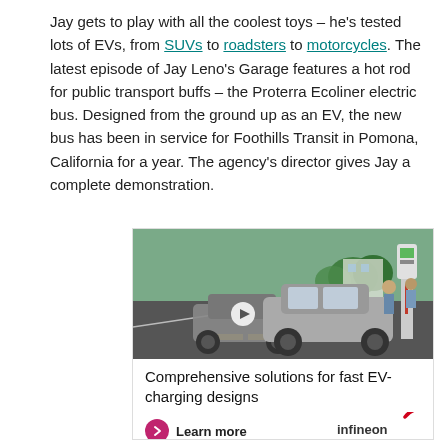Jay gets to play with all the coolest toys – he's tested lots of EVs, from SUVs to roadsters to motorcycles. The latest episode of Jay Leno's Garage features a hot rod for public transport buffs – the Proterra Ecoliner electric bus. Designed from the ground up as an EV, the new bus has been in service for Foothills Transit in Pomona, California for a year. The agency's director gives Jay a complete demonstration.
[Figure (infographic): Advertisement banner for Infineon showing electric cars at fast charging stations with text 'Comprehensive solutions for fast EV-charging designs' and a 'Learn more' button with Infineon logo.]